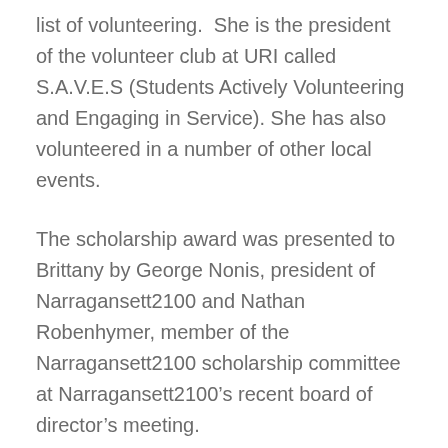list of volunteering.  She is the president of the volunteer club at URI called S.A.V.E.S (Students Actively Volunteering and Engaging in Service). She has also volunteered in a number of other local events.
The scholarship award was presented to Brittany by George Nonis, president of Narragansett2100 and Nathan Robenhymer, member of the Narragansett2100 scholarship committee at Narragansett2100’s recent board of director’s meeting.